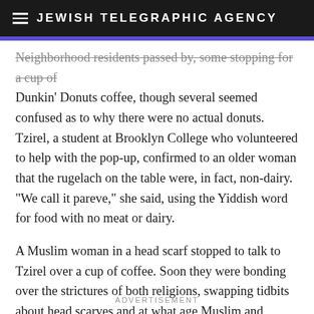JEWISH TELEGRAPHIC AGENCY
Neighborhood residents passed by, some stopping for a cup of Dunkin' Donuts coffee, though several seemed confused as to why there were no actual donuts. Tzirel, a student at Brooklyn College who volunteered to help with the pop-up, confirmed to an older woman that the rugelach on the table were, in fact, non-dairy. “We call it pareve,” she said, using the Yiddish word for food with no meat or dairy.
A Muslim woman in a head scarf stopped to talk to Tzirel over a cup of coffee. Soon they were bonding over the strictures of both religions, swapping tidbits about head scarves and at what age Muslim and Jewish children begin observing religious fast days.
ADVERTISEMENT